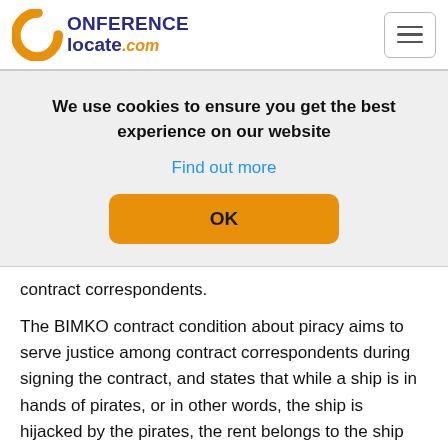ConferenceLocate.com
We use cookies to ensure you get the best experience on our website
Find out more
OK
contract correspondents.
The BIMKO contract condition about piracy aims to serve justice among contract correspondents during signing the contract, and states that while a ship is in hands of pirates, or in other words, the ship is hijacked by the pirates, the rent belongs to the ship owner as an in service ship up to 90 days from the start of hijacking, meaning the ship belongs to the